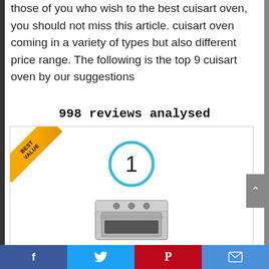those of you who wish to the best cuisart oven, you should not miss this article. cuisart oven coming in a variety of types but also different price range. The following is the top 9 cuisart oven by our suggestions
998 reviews analysed
[Figure (other): Product card with 'BEST VALUE' ribbon in top-left corner, a blue circle badge with number 1 in center-top, and a cuisinart oven appliance image below.]
[Figure (other): Social share bar at bottom with Facebook, Twitter, Pinterest, and Email icons]